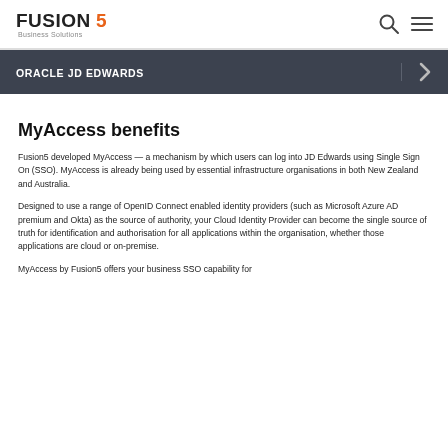Fusion5 Business Solutions — Oracle JD Edwards
ORACLE JD EDWARDS
MyAccess benefits
Fusion5 developed MyAccess — a mechanism by which users can log into JD Edwards using Single Sign On (SSO). MyAccess is already being used by essential infrastructure organisations in both New Zealand and Australia.
Designed to use a range of OpenID Connect enabled identity providers (such as Microsoft Azure AD premium and Okta) as the source of authority, your Cloud Identity Provider can become the single source of truth for identification and authorisation for all applications within the organisation, whether those applications are cloud or on-premise.
MyAccess by Fusion5 offers your business SSO capability for